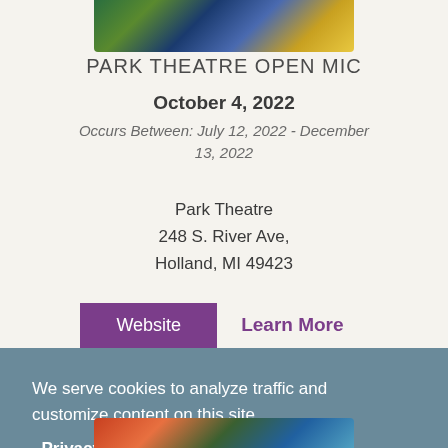[Figure (photo): Partial view of performers or attendees at an event, colorful clothing visible]
PARK THEATRE OPEN MIC
October 4, 2022
Occurs Between: July 12, 2022 - December 13, 2022
Park Theatre
248 S. River Ave,
Holland, MI 49423
Website   Learn More
We serve cookies to analyze traffic and customize content on this site.
Privacy Policy | GDPR FAQ
Got it!